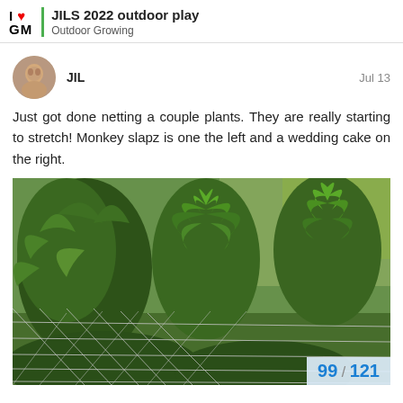JILS 2022 outdoor play | Outdoor Growing
JIL   Jul 13
Just got done netting a couple plants. They are really starting to stretch! Monkey slapz is one the left and a wedding cake on the right.
[Figure (photo): Outdoor cannabis plants behind wire netting fence, green foliage with sunlight in background]
99 / 121